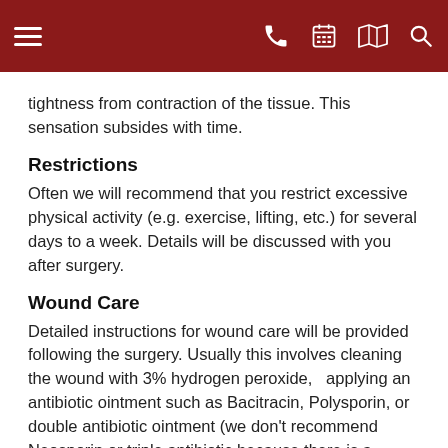Navigation header with hamburger menu, phone, calendar, map, and search icons
tightness from contraction of the tissue.  This sensation subsides with time.
Restrictions
Often we will recommend that you restrict excessive physical activity (e.g. exercise, lifting, etc.) for several days to a week.  Details will be discussed with you after surgery.
Wound Care
Detailed instructions for wound care will be provided following the surgery.  Usually this involves cleaning the wound with 3% hydrogen peroxide,   applying an antibiotic ointment such as Bacitracin, Polysporin, or double antibiotic ointment (we don't recommend Neosporin or triple antibiotic because there is a higher incidence of allergic reaction to Neomycin in these products), followed by a non-stick bandage such as Telfa.  This is usually done twice a day.  If a graft is used to repair the surgical wound, a 'permanent' bandage will be placed by us; this will not be removed until we see you for follow-up in 1 week.  In all cases, the wound